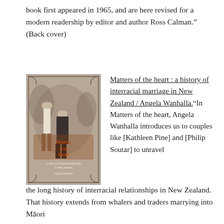book first appeared in 1965, and are here revised for a modern readership by editor and author Ross Calman.” (Back cover)
[Figure (photo): Book cover of 'Matters of the Heart: A History of Interracial Marriage in New Zealand' by Angela Wanhalla, showing a sepia-toned photograph of a man and woman standing outdoors.]
Matters of the heart : a history of interracial marriage in New Zealand / Angela Wanhalla.“In Matters of the heart, Angela Wanhalla introduces us to couples like [Kathleen Pine] and [Philip Soutar] to unravel the long history of interracial relationships in New Zealand. That history extends from whalers and traders marrying into Māori